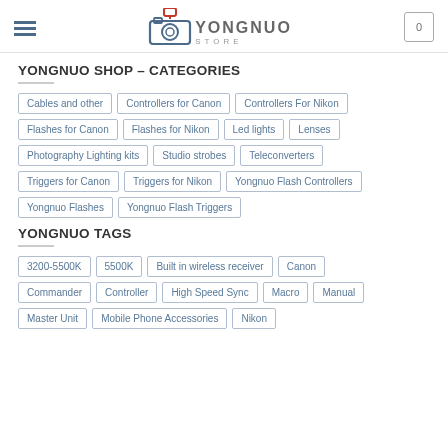Yongnuo Store – header with logo, hamburger menu, and cart icon
YONGNUO SHOP – CATEGORIES
Cables and other
Controllers for Canon
Controllers For Nikon
Flashes for Canon
Flashes for Nikon
Led lights
Lenses
Photography Lighting kits
Studio strobes
Teleconverters
Triggers for Canon
Triggers for Nikon
Yongnuo Flash Controllers
Yongnuo Flashes
Yongnuo Flash Triggers
YONGNUO TAGS
3200-5500K
5500K
Built in wireless receiver
Canon
Commander
Controller
High Speed Sync
Macro
Manual
Master Unit
Mobile Phone Accessories
Nikon